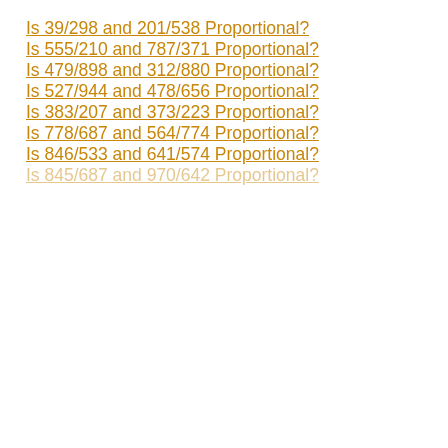Is 39/298 and 201/538 Proportional?
Is 555/210 and 787/371 Proportional?
Is 479/898 and 312/880 Proportional?
Is 527/944 and 478/656 Proportional?
Is 383/207 and 373/223 Proportional?
Is 778/687 and 564/774 Proportional?
Is 846/533 and 641/574 Proportional?
Is 845/687 and 970/642 Proportional?